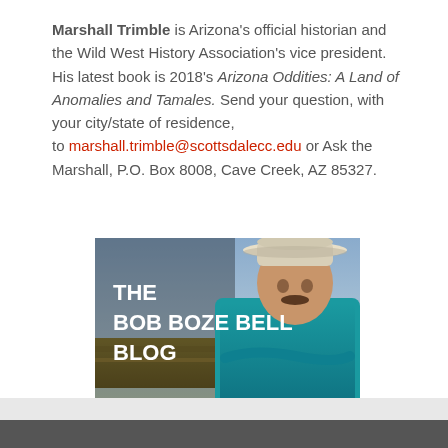Marshall Trimble is Arizona's official historian and the Wild West History Association's vice president. His latest book is 2018's Arizona Oddities: A Land of Anomalies and Tamales. Send your question, with your city/state of residence, to marshall.trimble@scottsdalecc.edu or Ask the Marshall, P.O. Box 8008, Cave Creek, AZ 85327.
[Figure (photo): Promotional image for 'The Bob Boze Bell Blog' showing a man in a turquoise shirt and white cowboy hat with arms crossed, against a desert landscape background.]